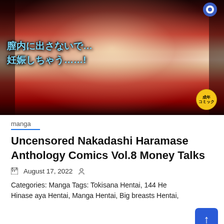[Figure (illustration): Manga/anime style adult comic book cover with Japanese text overlay reading '膣内に出さないで…妊娠しちゃう……!' and an adult content badge (成年コミック) in the bottom right corner.]
manga
Uncensored Nakadashi Haramase Anthology Comics Vol.8 Money Talks
August 17, 2022
Categories: Manga Tags: Tokisana Hentai, 144 Hentai, Hinase aya Hentai, Manga Hentai, Big breasts Hentai,